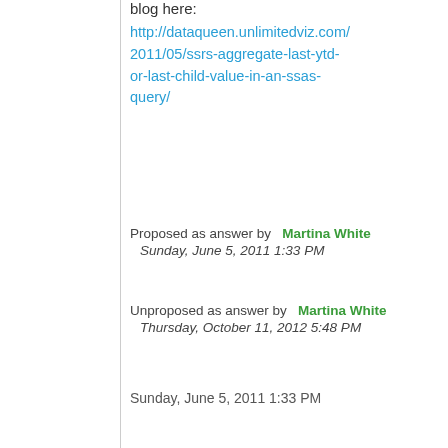blog here:
http://dataqueen.unlimitedviz.com/2011/05/ssrs-aggregate-last-ytd-or-last-child-value-in-an-ssas-query/
Proposed as answer by   Martina White
  Sunday, June 5, 2011 1:33 PM
Unproposed as answer by   Martina White
  Thursday, October 11, 2012 5:48 PM
Sunday, June 5, 2011 1:33 PM